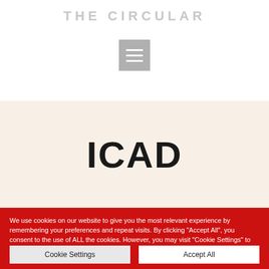THE CIRCULAR
[Figure (other): Menu/hamburger icon — a grey square with three white horizontal lines]
ICAD
We use cookies on our website to give you the most relevant experience by remembering your preferences and repeat visits. By clicking "Accept All", you consent to the use of ALL the cookies. However, you may visit "Cookie Settings" to provide a controlled consent.
Cookie Settings    Accept All